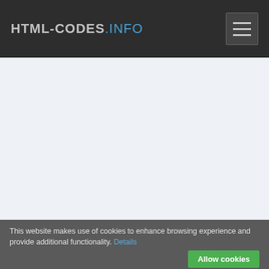HTML-CODES.INFO
This website makes use of cookies to enhance browsing experience and provide additional functionality. Details
Allow cookies